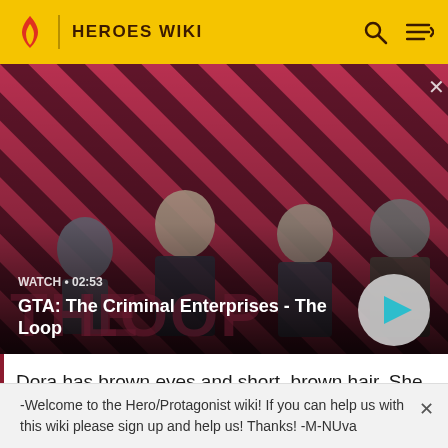HEROES WIKI
[Figure (screenshot): GTA: The Criminal Enterprises - The Loop video thumbnail showing four game characters on a red diagonal striped background with a play button]
WATCH • 02:53
GTA: The Criminal Enterprises - The Loop
Dora has brown eyes and short, brown hair. She wears a pink short-sleeved t-shirt, orange shorts, white Velcro
-Welcome to the Hero/Protagonist wiki! If you can help us with this wiki please sign up and help us! Thanks! -M-NUva